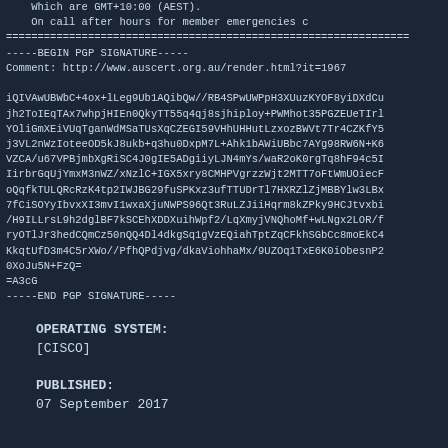Which are GMT+10:00 (AEST).
    On call after hours for member emergencies c
=============================================
-----BEGIN PGP SIGNATURE-----
Comment: http://www.auscert.org.au/render.html?it=1967

iQIVAwUBWbC+4ox+lLeg9Ub1AQibQw//RB4SPwUWPpH3XUuzKYOF8yiDXdCu
jh2ToIEqTAx7whpjHIEn0QkyTT55q4qj8sjhiploy+PWMhot35PGZEUeTIrl
YOliGmXEiVUqTganWdMSaTUsXqCZEGI59VHhUHHutLzxozBWVt7Tr4CZKfY5
j3VL2nWzIoteeOD5kJ8ukb+q3hu0DxpM7L+Ahk1bAWiUBbc7AYg98RW6N+K6
VZCA/u67VPBjmbXgRiSC4J0gIE5ADgiiyLJN4mYs/waR2oK0rgTq8hF94c5I
IirbrGqUjYmxM3nWZ/xNzlC+IGX5xry8CMHPVgrzzWjt2MTT7oFtWmUOiecF
oQqfkTULQRcRzK4tp2IWJBG29fuSPKxz3ufTTUDrTl7HXRZlZjMBBYlw3LBx
7fCiSOYyIbvxXI3mvI1wxaXjuNWPS96Qt3RuLZJiiHqrm8kZPky9HCJtvxbi
/H9ILLrsL9h2dglBF7kSCEhXDDXuihWpf2/LqXmyjVNQhoMf+wLNgx2LOR/f
ryOTlJr3hedCQmCz50nQQ4Dl4dkgSq1gVzEQiahTptZqCFkhSGbCc8moEkC4
KkqtUfD3m4C5rXWo//PfhQPdjvg/dkaViohhaMx/9UZOq1TxE6K0iObesnP2
0XoJu5N+FzQ=
=A3cG
-----END PGP SIGNATURE-----
OPERATING SYSTEM:
[CISCO]
PUBLISHED:
07 September 2017